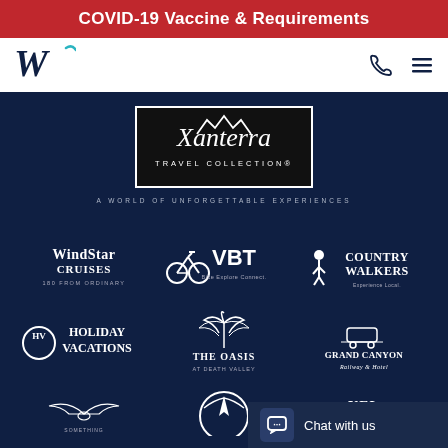COVID-19 Vaccine & Requirements
[Figure (logo): W logo (Windstar/Xanterra parent company) in teal/navy on white nav bar]
[Figure (logo): Xanterra Travel Collection logo in white on black box]
A WORLD OF UNFORGETTABLE EXPERIENCES
[Figure (logo): WindStar Cruises logo - 180 From Ordinary]
[Figure (logo): VBT - Bike Explore Connect logo]
[Figure (logo): Country Walkers - Experience Local logo]
[Figure (logo): Holiday Vacations logo]
[Figure (logo): The Oasis at Death Valley logo]
[Figure (logo): Grand Canyon Railway & Hotel logo]
[Figure (screenshot): Chat with us widget at bottom right]